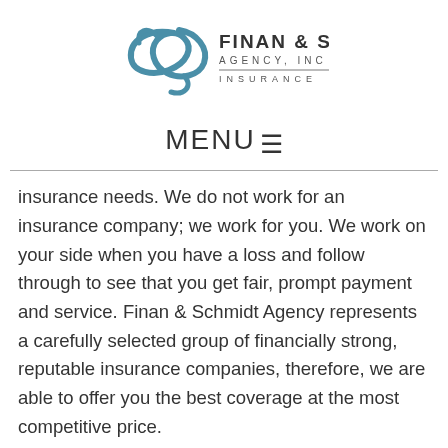[Figure (logo): Finan & Schmidt Agency, Inc. Insurance logo with stylized 'S' graphic in teal/blue]
MENU ☰
insurance needs. We do not work for an insurance company; we work for you. We work on your side when you have a loss and follow through to see that you get fair, prompt payment and service. Finan & Schmidt Agency represents a carefully selected group of financially strong, reputable insurance companies, therefore, we are able to offer you the best coverage at the most competitive price.